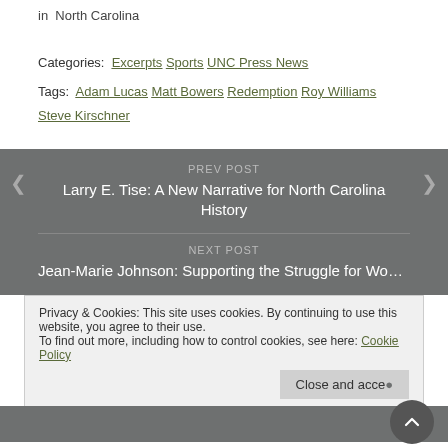in  North Carolina
Categories:  Excerpts  Sports  UNC Press News
Tags:  Adam Lucas  Matt Bowers  Redemption  Roy Williams  Steve Kirschner
PREV POST
Larry E. Tise: A New Narrative for North Carolina History
NEXT POST
Jean-Marie Johnson: Supporting the Struggle for Women's
Privacy & Cookies: This site uses cookies. By continuing to use this website, you agree to their use.
To find out more, including how to control cookies, see here: Cookie Policy
Close and accept